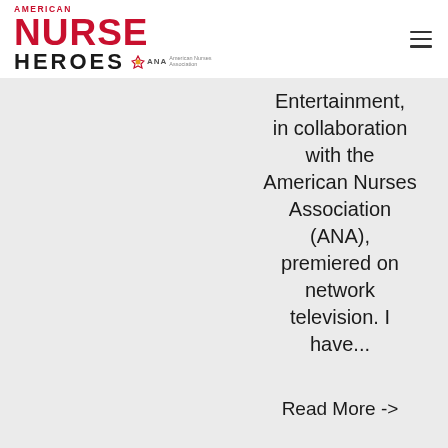AMERICAN NURSE HEROES ANA
Entertainment, in collaboration with the American Nurses Association (ANA), premiered on network television. I have...
Read More ->